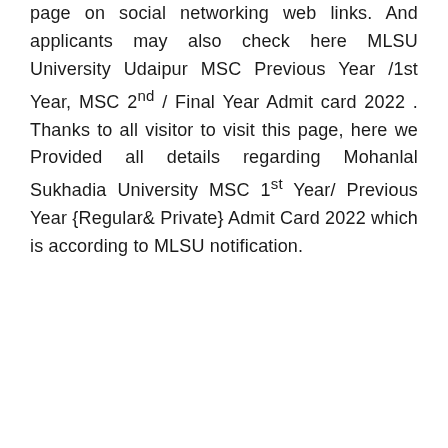page on social networking web links. And applicants may also check here MLSU University Udaipur MSC Previous Year /1st Year, MSC 2nd / Final Year Admit card 2022 . Thanks to all visitor to visit this page, here we Provided all details regarding Mohanlal Sukhadia University MSC 1st Year/ Previous Year {Regular& Private} Admit Card 2022 which is according to MLSU notification.